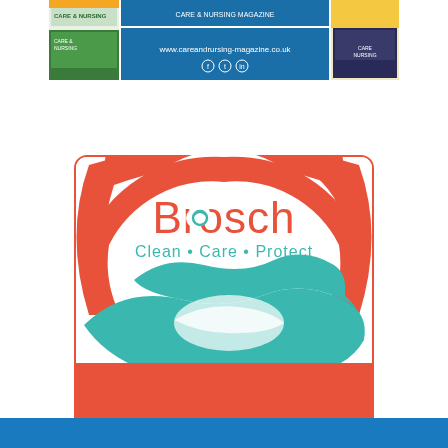[Figure (screenshot): Top banner strip showing care and nursing magazine website header with social media icons and thumbnail images of magazine covers]
[Figure (logo): Brosch logo with text 'Brosch Clean • Care • Protect' on white background with coral/red circular arc and teal hands graphic]
[Figure (screenshot): Partial blue banner at bottom of page]